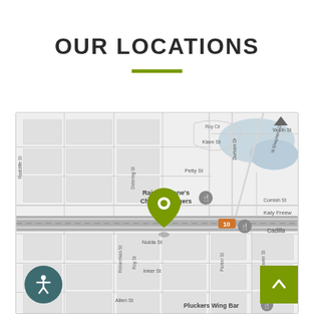OUR LOCATIONS
[Figure (map): Street map centered on Houston area near Katy Freeway showing Raising Cane's Chicken Fingers, Pluckers Wing Bar, N Shepherd Dr, Durham Dr, Roy Cir, Klam St, Petty St, Detering St, Nolda St, Inker St, Allen St, Cornish St, W 6th St, Fowler St, Parker St, Reinerman St, Roy St. A green location pin is placed on the freeway near Raising Cane's Chicken Fingers. Accessibility icon at bottom left, scroll-to-top button at bottom right.]